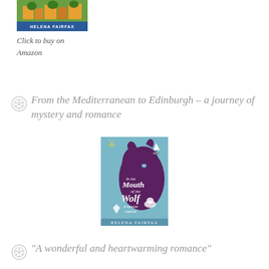[Figure (illustration): Book cover thumbnail for a Helena Fairfax novel with green/orange colors and 'HELENA FAIRFAX' text banner at bottom]
Click to buy on
Amazon
From the Mediterranean to Edinburgh – a journey of mystery and romance
[Figure (illustration): Book cover for 'In the Mouth of the Wolf' by Helena Fairfax. Light blue cover featuring a purple wolf silhouette profile with fireworks, a sailboat, a diamond ring, and a woman in a hat. Subtitle: 'A romantic suspense']
“A wonderful and heartwarming romance”